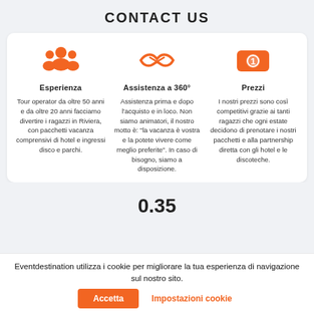CONTACT US
[Figure (illustration): Orange people/group icon representing Esperienza]
Esperienza
Tour operator da oltre 50 anni e da oltre 20 anni facciamo divertire i ragazzi in Riviera, con pacchetti vacanza comprensivi di hotel e ingressi disco e parchi.
[Figure (illustration): Orange handshake icon representing Assistenza a 360°]
Assistenza a 360°
Assistenza prima e dopo l'acquisto e in loco. Non siamo animatori, il nostro motto è: "la vacanza è vostra e la potete vivere come meglio preferite". In caso di bisogno, siamo a disposizione.
[Figure (illustration): Orange coin/money icon in a rounded rectangle representing Prezzi]
Prezzi
I nostri prezzi sono così competitivi grazie ai tanti ragazzi che ogni estate decidono di prenotare i nostri pacchetti e alla partnership diretta con gli hotel e le discoteche.
0.35
Eventdestination utilizza i cookie per migliorare la tua esperienza di navigazione sul nostro sito.